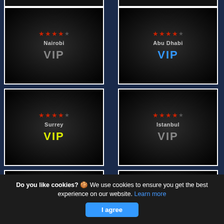[Figure (screenshot): Grid of VIP location cards on dark blue background showing city names with star ratings and VIP labels in various colors (gray, blue, yellow). Cities shown: Nairobi (VIP gray), Abu Dhabi (VIP blue), Surrey (VIP yellow), Istanbul (VIP gray), Doha (VIP partially visible), Pretoria (VIP partially visible).]
Do you like cookies? 🍪 We use cookies to ensure you get the best experience on our website. Learn more
I agree